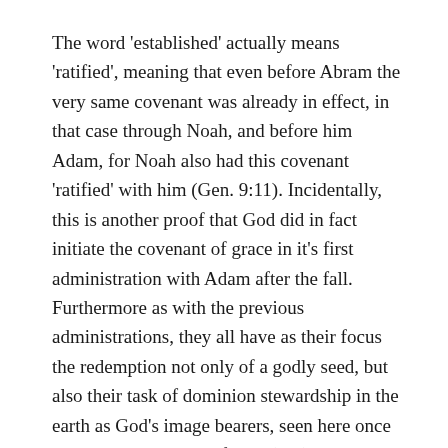The word 'established' actually means 'ratified', meaning that even before Abram the very same covenant was already in effect, in that case through Noah, and before him Adam, for Noah also had this covenant 'ratified' with him (Gen. 9:11). Incidentally, this is another proof that God did in fact initiate the covenant of grace in it's first administration with Adam after the fall. Furthermore as with the previous administrations, they all have as their focus the redemption not only of a godly seed, but also their task of dominion stewardship in the earth as God's image bearers, seen here once again in the promise of land (v. 4). That the covenant the LORD would ratify with the people through Moses was the very same covenant is also borne out by the fact that the LORD says that He heard their groaning and